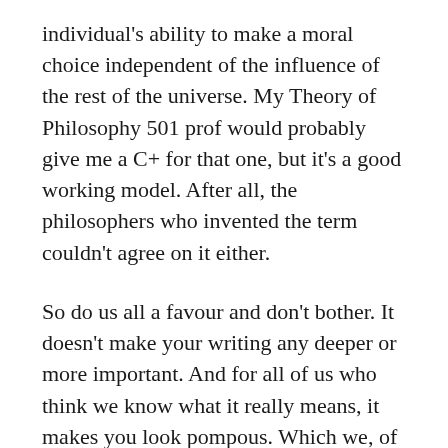individual's ability to make a moral choice independent of the influence of the rest of the universe. My Theory of Philosophy 501 prof would probably give me a C+ for that one, but it's a good working model. After all, the philosophers who invented the term couldn't agree on it either.
So do us all a favour and don't bother. It doesn't make your writing any deeper or more important. And for all of us who think we know what it really means, it makes you look pompous. Which we, of course, are not.
13B. Another error made so often that it's almost become part of the language; please